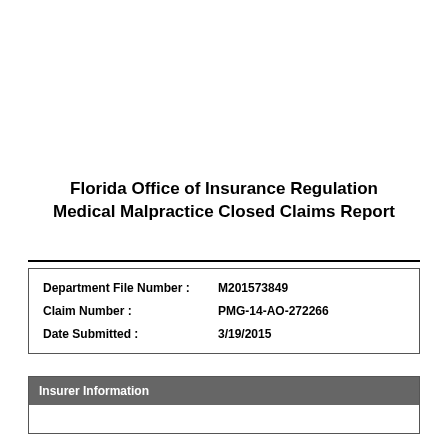Florida Office of Insurance Regulation Medical Malpractice Closed Claims Report
| Department File Number : | M201573849 |
| Claim Number : | PMG-14-AO-272266 |
| Date Submitted : | 3/19/2015 |
Insurer Information